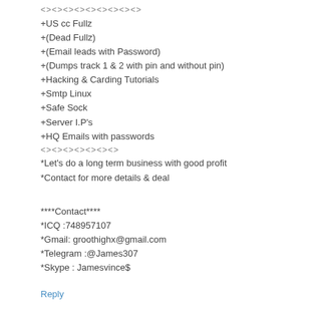<><><><><><><><><>
+US cc Fullz
+(Dead Fullz)
+(Email leads with Password)
+(Dumps track 1 & 2 with pin and without pin)
+Hacking & Carding Tutorials
+Smtp Linux
+Safe Sock
+Server I.P's
+HQ Emails with passwords
<><><><><><><>
*Let's do a long term business with good profit
*Contact for more details & deal
****Contact****
*ICQ :748957107
*Gmail: groothighx@gmail.com
*Telegram :@James307
*Skype : Jamesvince$
Reply